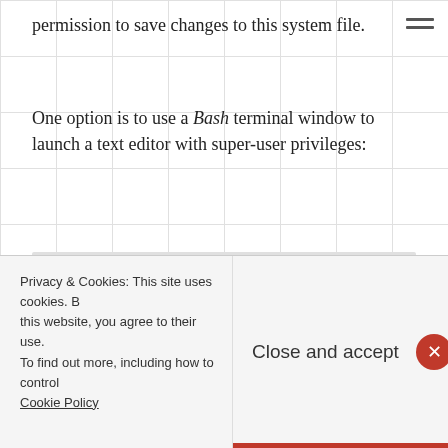permission to save changes to this system file.
One option is to use a Bash terminal window to launch a text editor with super-user privileges:
sudo leafpad /home/pi/.bashrc
Another option is to use the text-mode nano editor:
sudo nano /home/pi/.bashrc
Privacy & Cookies: This site uses cookies. By continuing to use this website, you agree to their use.
To find out more, including how to control cookies, see here:
Cookie Policy
Close and accept